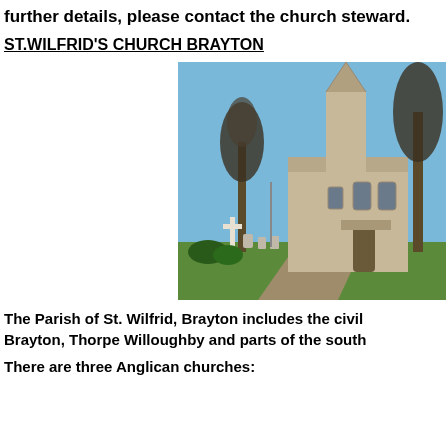further details, please contact the church steward.
ST.WILFRID'S CHURCH BRAYTON
[Figure (photo): Photograph of St. Wilfrid's Church Brayton showing the stone church building with a tall spire, surrounded by bare trees and a graveyard with a cross memorial in the foreground, under a blue sky.]
The Parish of St. Wilfrid, Brayton includes the civil Brayton, Thorpe Willoughby and parts of the south
There are three Anglican churches: